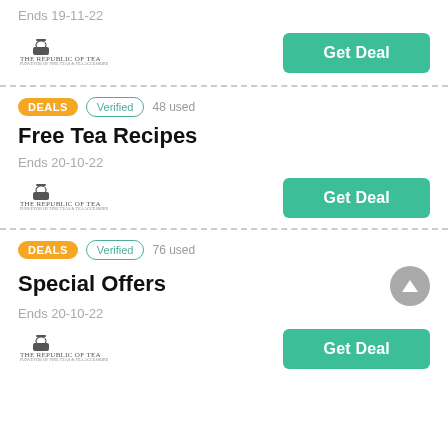Ends 19-11-22
[Figure (logo): The Republic of Tea logo]
Get Deal
DEALS  Verified  48 used
Free Tea Recipes
Ends 20-10-22
[Figure (logo): The Republic of Tea logo]
Get Deal
DEALS  Verified  76 used
Special Offers
Ends 20-10-22
[Figure (logo): The Republic of Tea logo]
Get Deal